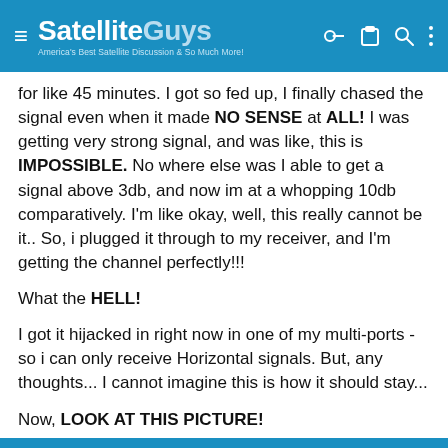≡ SatelliteGuys America's Best Satellite Discussion & So Much More!
for like 45 minutes. I got so fed up, I finally chased the signal even when it made NO SENSE at ALL! I was getting very strong signal, and was like, this is IMPOSSIBLE. No where else was I able to get a signal above 3db, and now im at a whopping 10db comparatively. I'm like okay, well, this really cannot be it.. So, i plugged it through to my receiver, and I'm getting the channel perfectly!!!
What the HELL!
I got it hijacked in right now in one of my multi-ports - so i can only receive Horizontal signals. But, any thoughts... I cannot imagine this is how it should stay...
Now, LOOK AT THIS PICTURE!